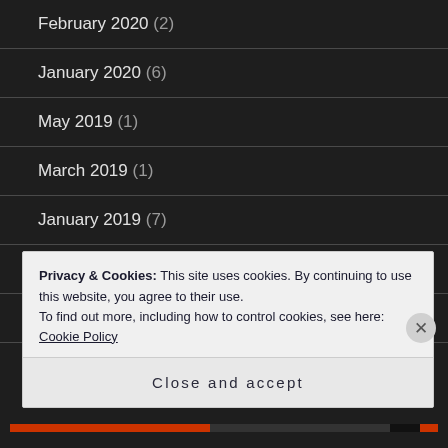February 2020 (2)
January 2020 (6)
May 2019 (1)
March 2019 (1)
January 2019 (7)
December 2018 (1)
October 2018 (6)
September 2018 (6)
Privacy & Cookies: This site uses cookies. By continuing to use this website, you agree to their use.
To find out more, including how to control cookies, see here: Cookie Policy
Close and accept